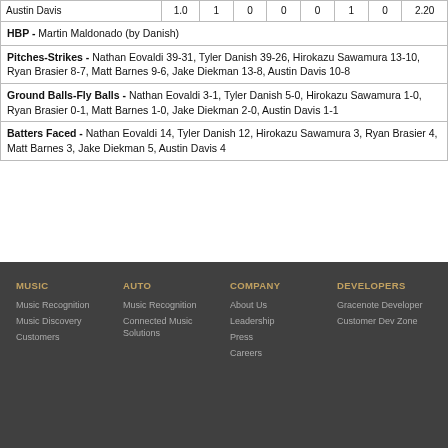| Austin Davis | 1.0 | 1 | 0 | 0 | 0 | 1 | 0 | 2.20 |
| HBP - Martin Maldonado (by Danish) |
| Pitches-Strikes - Nathan Eovaldi 39-31, Tyler Danish 39-26, Hirokazu Sawamura 13-10, Ryan Brasier 8-7, Matt Barnes 9-6, Jake Diekman 13-8, Austin Davis 10-8 |
| Ground Balls-Fly Balls - Nathan Eovaldi 3-1, Tyler Danish 5-0, Hirokazu Sawamura 1-0, Ryan Brasier 0-1, Matt Barnes 1-0, Jake Diekman 2-0, Austin Davis 1-1 |
| Batters Faced - Nathan Eovaldi 14, Tyler Danish 12, Hirokazu Sawamura 3, Ryan Brasier 4, Matt Barnes 3, Jake Diekman 5, Austin Davis 4 |
MUSIC | AUTO | COMPANY | DEVELOPERS with links: Music Recognition, Music Discovery, Customers | Music Recognition, Connected Music Solutions | About Us, Leadership, Press, Careers | Gracenote Developer, Customer Dev Zone